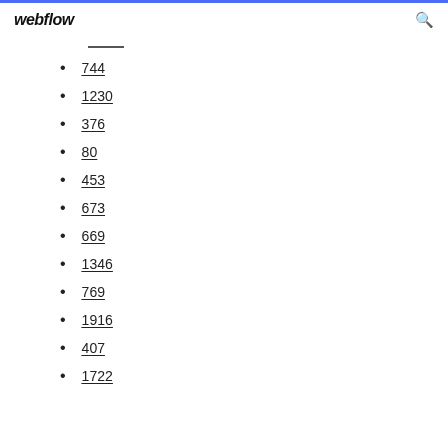webflow
744
1230
376
80
453
673
669
1346
769
1916
407
1722